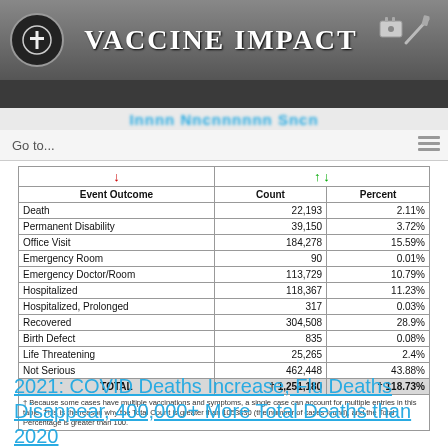Vaccine Impact
Go to...
| Event Outcome | Count | Percent |
| --- | --- | --- |
| Death | 22,193 | 2.11% |
| Permanent Disability | 39,150 | 3.72% |
| Office Visit | 184,278 | 15.59% |
| Emergency Room | 90 | 0.01% |
| Emergency Doctor/Room | 113,729 | 10.79% |
| Hospitalized | 118,367 | 11.23% |
| Hospitalized, Prolonged | 317 | 0.03% |
| Recovered | 304,508 | 28.9% |
| Birth Defect | 835 | 0.08% |
| Life Threatening | 25,265 | 2.4% |
| Not Serious | 462,448 | 43.88% |
| TOTAL | † 1,251,180 | † 118.73% |
2021: COVID Deaths Increase, Flu Deaths Disappear, 400,000+ More Total Deaths than 2020